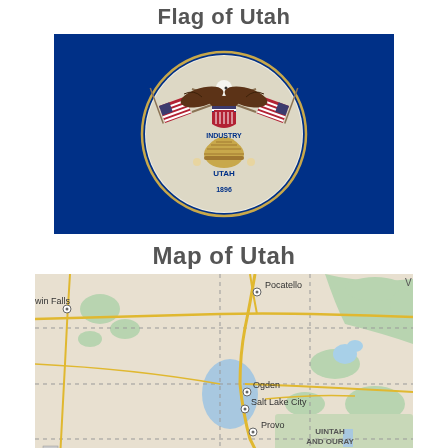Flag of Utah
[Figure (illustration): Flag of Utah: dark navy blue background with the Utah state seal centered. The seal features a bald eagle at the top with spread wings, two American flags on each side, a beehive in the center with the word INDUSTRY above it, UTAH below the beehive, the year 1896 at the bottom, and a golden circle border around the seal.]
Map of Utah
[Figure (map): Road map of Utah and surrounding area showing cities including Pocatello, Twin Falls (win Falls), Ogden, Salt Lake City, and Provo. The Uintah and Ouray Reservation is labeled in the eastern portion. Roads shown as yellow lines, terrain features, state borders shown as dashed lines, and water bodies in blue.]